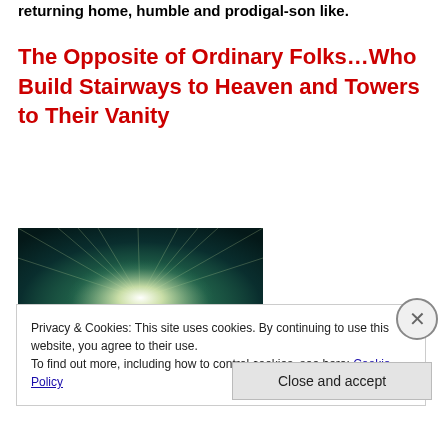returning home, humble and prodigal-son like.
The Opposite of Ordinary Folks…Who Build Stairways to Heaven and Towers to Their Vanity
[Figure (photo): A dramatic photo showing rays of light bursting upward from a dark landscape, with a bright central beam and greenish-teal tones radiating outward against a dark sky.]
Privacy & Cookies: This site uses cookies. By continuing to use this website, you agree to their use.
To find out more, including how to control cookies, see here: Cookie Policy
Close and accept